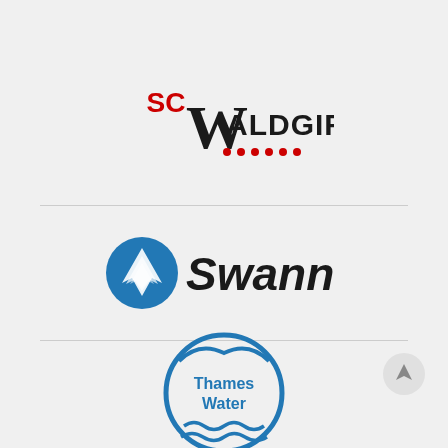[Figure (logo): SC Waldgirmes logo with red SC lettering, large W letter, ALDGIRMES text, and red dots underline]
[Figure (logo): Swann logo with blue circular icon containing white layered arrow shapes and italic Swann text]
[Figure (logo): Thames Water logo — circular design with blue waves and Thames Water text in blue]
[Figure (other): Circular up-arrow navigation button in light grey]